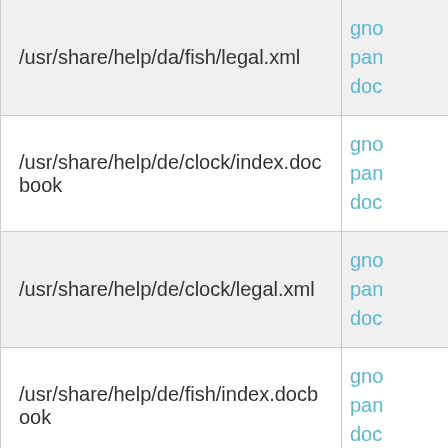| Path | Package |
| --- | --- |
| /usr/share/help/da/fish/legal.xml | gno
pan
doc |
| /usr/share/help/de/clock/index.docbook | gno
pan
doc |
| /usr/share/help/de/clock/legal.xml | gno
pan
doc |
| /usr/share/help/de/fish/index.docbook | gno
pan
doc |
| /usr/share/help/de/fish/legal.xml | gno
pan
doc |
| /usr/share/help/el/clock/index.docbook | gno
pan
doc |
| /usr/share/help/el/clock/legal.xml | gno
pan
doc |